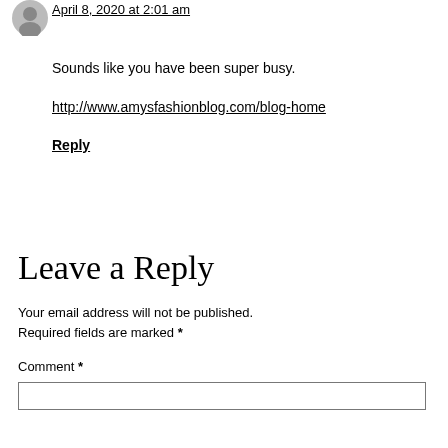April 8, 2020 at 2:01 am
Sounds like you have been super busy.
http://www.amysfashionblog.com/blog-home
Reply
Leave a Reply
Your email address will not be published. Required fields are marked *
Comment *